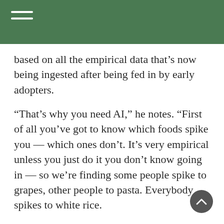based on all the empirical data that’s now being ingested after being fed in by early adopters.
“That’s why you need AI,” he notes. “First of all you’ve got to know which foods spike you — which ones don’t. It’s very empirical unless you just do it you don’t know going in — so we’re finding some people spike to grapes, other people to pasta. Everybody spikes to white rice.
“But different people do spike to different things and at some point we’ll get predictive about what’s doing that but right now it’s just empirical. And so that’s what these devices do — they teach